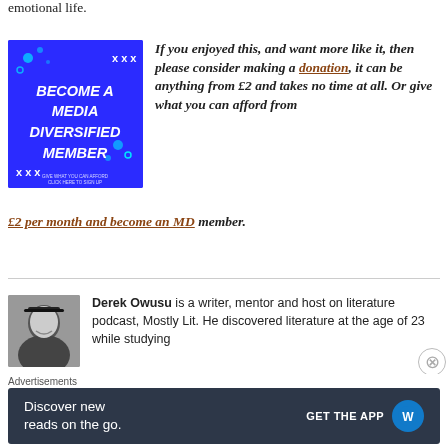emotional life.
[Figure (illustration): Blue banner image with text 'Become a Media Diversified Member' in white bold font on blue background with decorative elements]
If you enjoyed this, and want more like it, then please consider making a donation, it can be anything from £2 and takes no time at all. Or give what you can afford from £2 per month and become an MD member.
[Figure (photo): Black and white portrait photo of Derek Owusu smiling, wearing a cap]
Derek Owusu is a writer, mentor and host on literature podcast, Mostly Lit. He discovered literature at the age of 23 while studying
Advertisements
[Figure (infographic): WordPress app advertisement: 'Discover new reads on the go. GET THE APP' with WordPress logo on dark teal background]